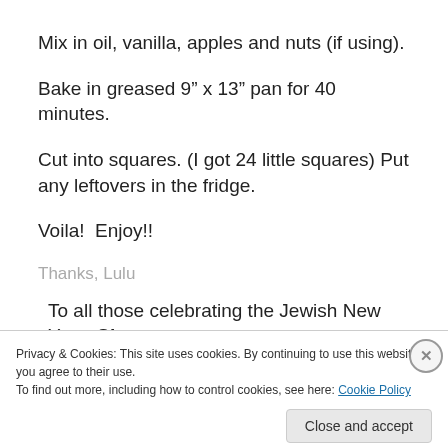Mix in oil, vanilla, apples and nuts (if using).
Bake in greased 9” x 13” pan for 40 minutes.
Cut into squares. (I got 24 little squares) Put any leftovers in the fridge.
Voila!  Enjoy!!
Thanks, Lulu
To all those celebrating the Jewish New Year, Shana
Privacy & Cookies: This site uses cookies. By continuing to use this website, you agree to their use.
To find out more, including how to control cookies, see here: Cookie Policy
Close and accept